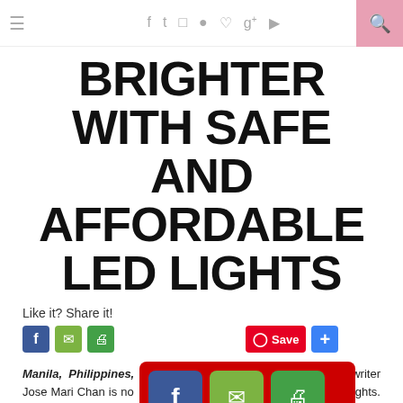≡  f  t  ◻  ●  ♥  g+  ▶  🔍
BRIGHTER WITH SAFE AND AFFORDABLE LED LIGHTS
Like it? Share it!
[Figure (screenshot): Social share buttons: Facebook (blue), Email (green envelope), Print (green printer), Pinterest Save button (red), and Plus/Share button (blue)]
Manila, Philippines, October 16, 2019 – Singer and songwriter Jose Mari Chan is now the brand ambassador for Firefly LED Lights. He also collaborated with Firefly in the concept and making of the digital video, launched on October 16, to launch its "Celebright Chr...
[Figure (screenshot): Social share popup overlay showing Facebook, Email, Print, Plus buttons on red background]
The digital vide... line "The spirit